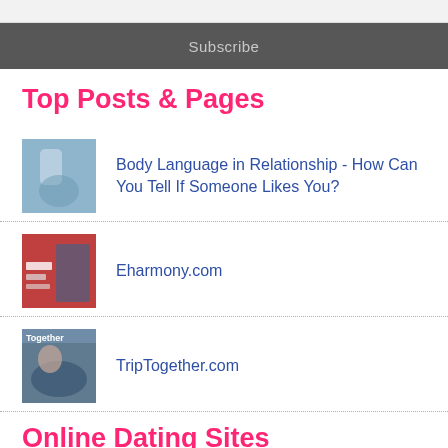Subscribe
Top Posts & Pages
[Figure (photo): Thumbnail image of person near water]
Body Language in Relationship - How Can You Tell If Someone Likes You?
[Figure (photo): Thumbnail image for Eharmony.com post]
Eharmony.com
[Figure (photo): Thumbnail image for TripTogether.com post]
TripTogether.com
Online Dating Sites